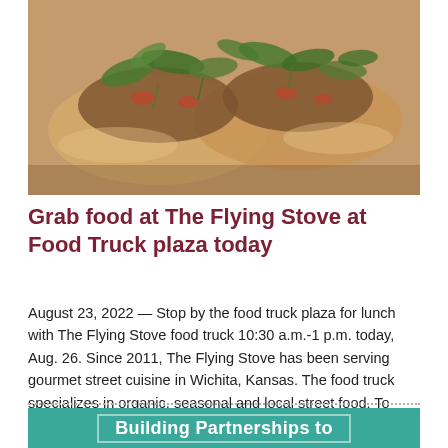[Figure (photo): Close-up photo of two tacos with meat filling and arugula greens on a wooden surface]
Grab food at The Flying Stove at Food Truck plaza today
August 23, 2022 — Stop by the food truck plaza for lunch with The Flying Stove food truck 10:30 a.m.-1 p.m. today, Aug. 26. Since 2011, The Flying Stove has been serving gourmet street cuisine in Wichita, Kansas. The food truck specializes in organic, seasonal and local street food. To order ahead, visit The Flying Stove's website.
[Figure (other): Teal/green banner section with white bold text reading 'Building Partnerships to']